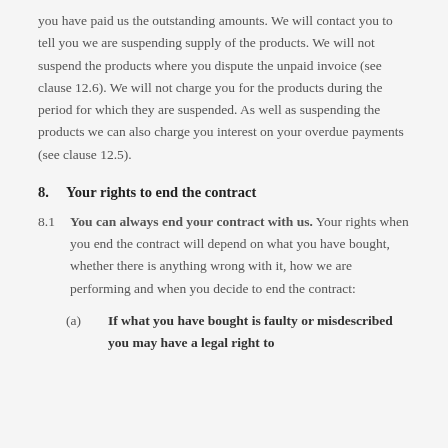you have paid us the outstanding amounts. We will contact you to tell you we are suspending supply of the products. We will not suspend the products where you dispute the unpaid invoice (see clause 12.6). We will not charge you for the products during the period for which they are suspended. As well as suspending the products we can also charge you interest on your overdue payments (see clause 12.5).
8. Your rights to end the contract
8.1 You can always end your contract with us. Your rights when you end the contract will depend on what you have bought, whether there is anything wrong with it, how we are performing and when you decide to end the contract:
(a) If what you have bought is faulty or misdescribed you may have a legal right to